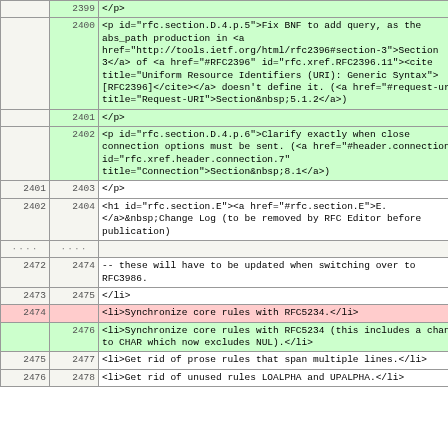| old | new | content |
| --- | --- | --- |
|  | 2399 |         </p> |
|  | 2400 |         <p id="rfc.section.D.4.p.5">Fix BNF to add query, as the abs_path production in <a href="http://tools.ietf.org/html/rfc2396#section-3">Section 3</a> of <a href="#RFC2396" id="rfc.xref.RFC2396.11"><cite title="Uniform Resource Identifiers (URI): Generic Syntax">[RFC2396]</cite></a> doesn't define it. (<a href="#request-uri" title="Request-URI">Section&nbsp;5.1.2</a>) |
|  | 2401 |         </p> |
|  | 2402 |         <p id="rfc.section.D.4.p.6">Clarify exactly when close connection options must be sent. (<a href="#header.connection" id="rfc.xref.header.connection.7" title="Connection">Section&nbsp;8.1</a>) |
| 2401 | 2403 |         </p> |
| 2402 | 2404 |         <h1 id="rfc.section.E"><a href="#rfc.section.E">E.</a>&nbsp;Change Log (to be removed by RFC Editor before publication) |
| .... | .... |  |
| 2472 | 2474 |                 -- these will have to be updated when switching over to RFC3986. |
| 2473 | 2475 |         </li> |
| 2474 |  |             <li>Synchronize core rules with RFC5234.</li> |
|  | 2476 |             <li>Synchronize core rules with RFC5234 (this includes a change to CHAR which now excludes NUL).</li> |
| 2475 | 2477 |             <li>Get rid of prose rules that span multiple lines.</li> |
| 2476 | 2478 |             <li>Get rid of unused rules LOALPHA and UPALPHA.</li> |